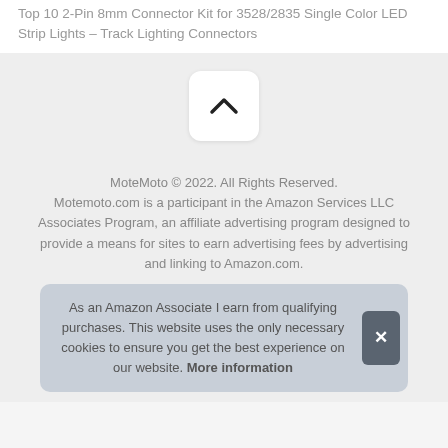Top 10 2-Pin 8mm Connector Kit for 3528/2835 Single Color LED Strip Lights – Track Lighting Connectors
[Figure (other): Chevron up arrow button (scroll to top), white rounded square button on light grey background]
MoteMoto © 2022. All Rights Reserved. Motemoto.com is a participant in the Amazon Services LLC Associates Program, an affiliate advertising program designed to provide a means for sites to earn advertising fees by advertising and linking to Amazon.com.
As an Amazon Associate I earn from qualifying purchases. This website uses the only necessary cookies to ensure you get the best experience on our website. More information